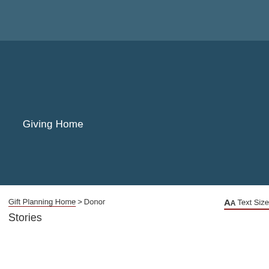Giving Home
Gift Planning Home > Donor Stories
AA Text Size